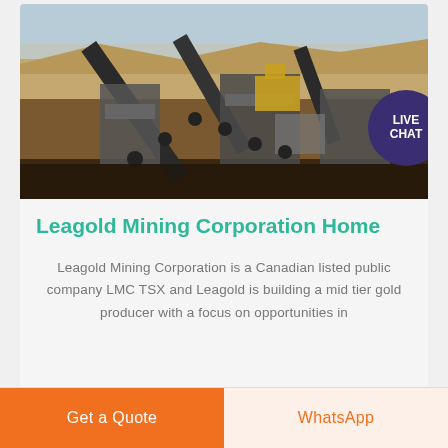[Figure (photo): Aerial view of a gold mining operation with conveyor belts and heavy machinery in a desert/arid landscape]
Leagold Mining Corporation Home
Leagold Mining Corporation is a Canadian listed public company LMC TSX and Leagold is building a mid tier gold producer with a focus on opportunities in
Get a Quote
WhatsApp